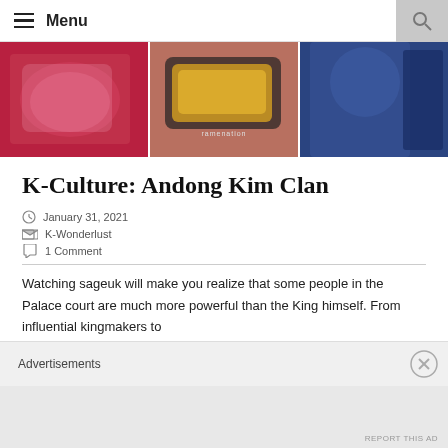Menu
[Figure (photo): Banner image with three panels: red/pink sweatshirt with graphic print on left, food dish on pinkish background in center, person in traditional Korean blue hanbok on right]
K-Culture: Andong Kim Clan
January 31, 2021
K-Wonderlust
1 Comment
Watching sageuk will make you realize that some people in the Palace court are much more powerful than the King himself. From influential kingmakers to
Advertisements